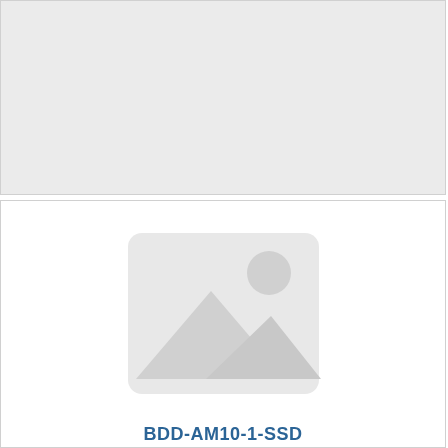[Figure (other): Gray placeholder panel at the top of the page]
[Figure (photo): White panel with a gray image placeholder icon (mountain/landscape placeholder graphic)]
BDD-AM10-1-SSD